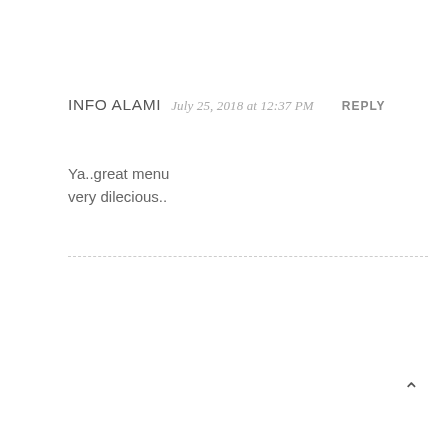INFO ALAMI  July 25, 2018 at 12:37 PM  REPLY
Ya..great menu
very dilecious..